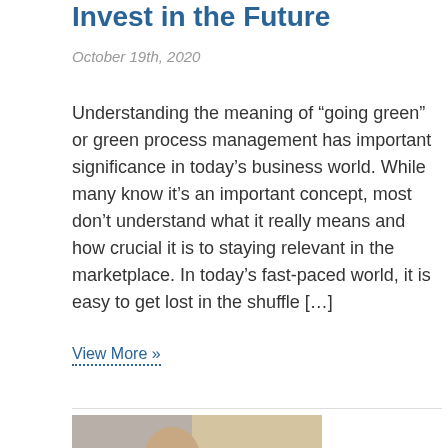Invest in the Future
October 19th, 2020
Understanding the meaning of “going green” or green process management has important significance in today’s business world. While many know it’s an important concept, most don’t understand what it really means and how crucial it is to staying relevant in the marketplace. In today’s fast-paced world, it is easy to get lost in the shuffle […]
View More »
[Figure (photo): A bearded man in a dark hoodie looking down at a laptop screen]